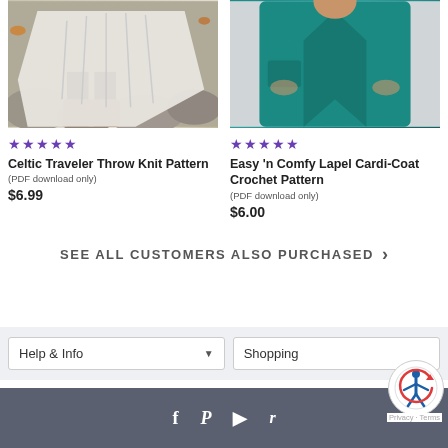[Figure (photo): Person wearing a white Celtic cable-knit throw/shawl draped over black pants with brown boots, standing on rocks with autumn leaves]
[Figure (photo): Person wearing a teal/dark cyan crochet lapel cardi-coat with hands in pockets against a light gray background]
★★★★★
★★★★★
Celtic Traveler Throw Knit Pattern
(PDF download only)
$6.99
Easy 'n Comfy Lapel Cardi-Coat Crochet Pattern
(PDF download only)
$6.00
SEE ALL CUSTOMERS ALSO PURCHASED ›
Help & Info
Shopping
f  P  ▶  r